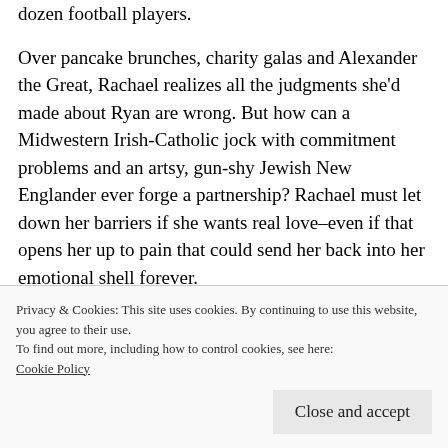dozen football players.
Over pancake brunches, charity galas and Alexander the Great, Rachael realizes all the judgments she'd made about Ryan are wrong. But how can a Midwestern Irish-Catholic jock with commitment problems and an artsy, gun-shy Jewish New Englander ever forge a partnership? Rachael must let down her barriers if she wants real love–even if that opens her up to pain that could send her back into her emotional shell forever.
Privacy & Cookies: This site uses cookies. By continuing to use this website, you agree to their use.
To find out more, including how to control cookies, see here: Cookie Policy